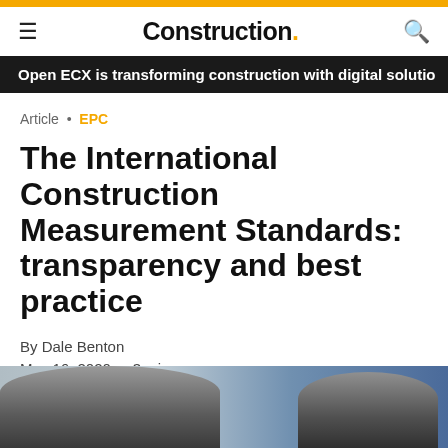Construction.
Open ECX is transforming construction with digital solutions
Article • EPC
The International Construction Measurement Standards: transparency and best practice
By Dale Benton
May 16, 2020  •  3 mins
[Figure (photo): Photo of construction workers/professionals, partially visible at bottom of page]